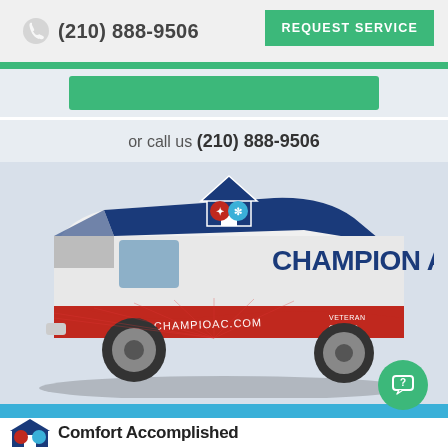(210) 888-9506  REQUEST SERVICE
or call us (210) 888-9506
[Figure (photo): Champion AC branded service van with red, white and blue wrap showing company logo, champioac.com website, and Veteran Owned badge]
[Figure (logo): Champion AC house logo with flame and snowflake icons]
Comfort Accomplished